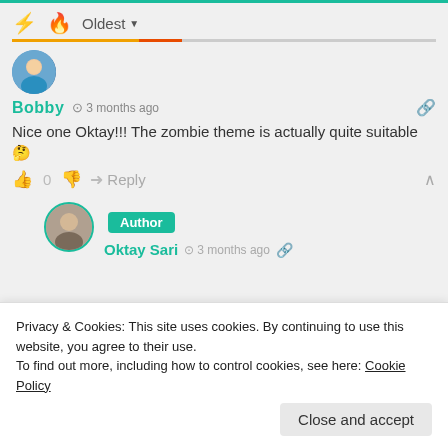5 COMMENTS
[Figure (screenshot): Comment sorting toolbar with lightning bolt, flame icons and Oldest dropdown]
[Figure (photo): Avatar photo of Bobby]
Bobby  3 months ago
Nice one Oktay!!! The zombie theme is actually quite suitable 🤔
0  Reply
[Figure (photo): Avatar photo of Oktay Sari with Author badge]
Oktay Sari  3 months ago
Privacy & Cookies: This site uses cookies. By continuing to use this website, you agree to their use.
To find out more, including how to control cookies, see here: Cookie Policy